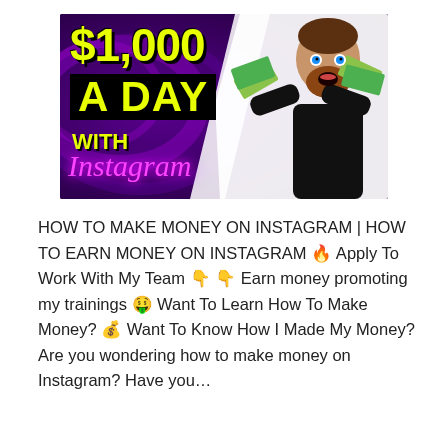[Figure (illustration): Thumbnail image showing '$1,000 A DAY WITH Instagram' in large yellow text on a dark purple background with a bearded man holding dollar bills and looking excited.]
HOW TO MAKE MONEY ON INSTAGRAM | HOW TO EARN MONEY ON INSTAGRAM 🔥 Apply To Work With My Team 👇 👇 Earn money promoting my trainings 🤑 Want To Learn How To Make Money? 💰 Want To Know How I Made My Money? Are you wondering how to make money on Instagram? Have you…